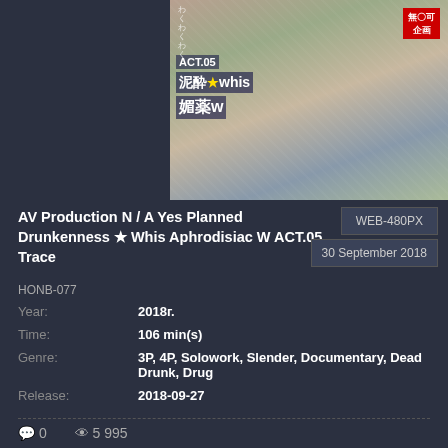[Figure (photo): DVD/video cover art showing a Japanese adult video titled ACT.05 with Japanese text including 泥酔★whis 媚薬w, red badge with Japanese text 無〇可企画]
AV Production N / A Yes Planned Drunkenness ★ Whis Aphrodisiac W ACT.05 Trace
HONB-077
WEB-480PX
30 September 2018
| Field | Value |
| --- | --- |
| Year: | 2018г. |
| Time: | 106 min(s) |
| Genre: | 3P, 4P, Solowork, Slender, Documentary, Dead Drunk, Drug |
| Release: | 2018-09-27 |
0   5 995